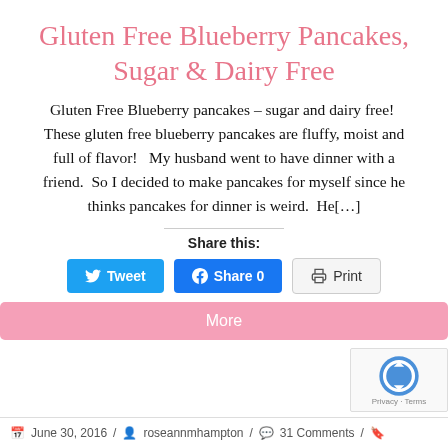Gluten Free Blueberry Pancakes, Sugar & Dairy Free
Gluten Free Blueberry pancakes – sugar and dairy free!  These gluten free blueberry pancakes are fluffy, moist and full of flavor!   My husband went to have dinner with a friend.  So I decided to make pancakes for myself since he thinks pancakes for dinner is weird.  He[…]
Share this:
Tweet   Share 0   Print
More
June 30, 2016 / roseannmhampton / 31 Comments /